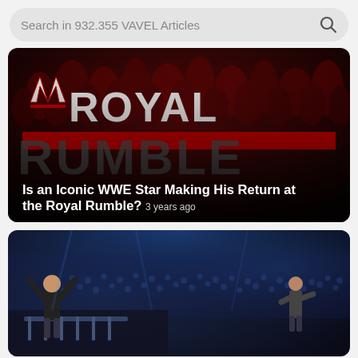Search in 932.355 VAVEL Articles
[Figure (screenshot): WWE Royal Rumble event logo on dark red background with crowd silhouettes. Large text reads 'W ROYAL' with WWE logo, red horizontal bar, and 'RUMBLE' below. Caption overlay: 'Is an Iconic WWE Star Making His Return at the Royal Rumble? 3 years ago']
[Figure (photo): WWE arena photo showing a wrestler in black shirt standing on a platform/barrier with arms raised, arena crowd visible in background with blue lighting, another figure visible on right side]